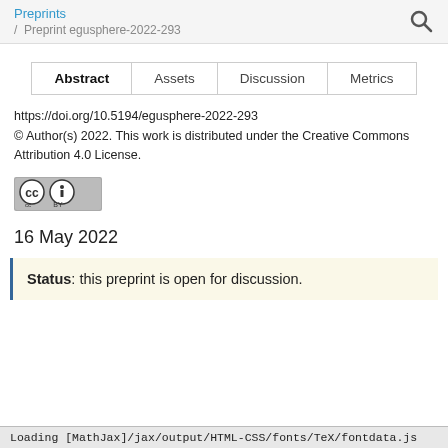Preprints / Preprint egusphere-2022-293
| Abstract | Assets | Discussion | Metrics |
| --- | --- | --- | --- |
https://doi.org/10.5194/egusphere-2022-293
© Author(s) 2022. This work is distributed under the Creative Commons Attribution 4.0 License.
[Figure (logo): Creative Commons CC BY license badge]
16 May 2022
Status: this preprint is open for discussion.
Loading [MathJax]/jax/output/HTML-CSS/fonts/TeX/fontdata.js